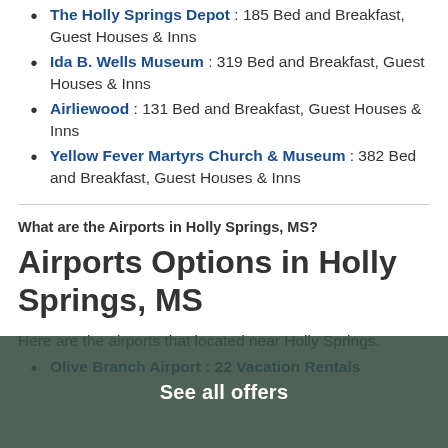The Holly Springs Depot : 185 Bed and Breakfast, Guest Houses & Inns
Ida B. Wells Museum : 319 Bed and Breakfast, Guest Houses & Inns
Airliewood : 131 Bed and Breakfast, Guest Houses & Inns
Yellow Fever Martyrs Church & Museum : 382 Bed and Breakfast, Guest Houses & Inns
What are the Airports in Holly Springs, MS?
Airports Options in Holly Springs, MS
Here are the airports that located near Holly Springs.
Olive Branch Airport : 22 Vacation Rentals
See all offers